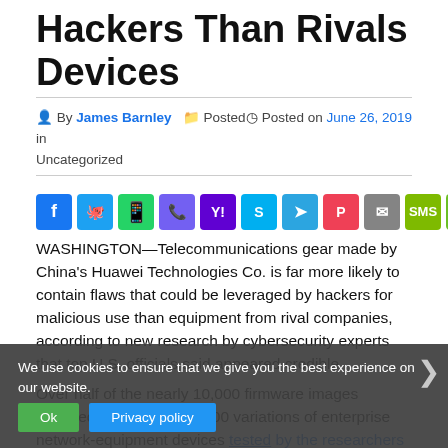Hackers Than Rivals Devices
By James Barnley  Posted in Uncategorized  Posted on June 26, 2019
[Figure (other): Social share buttons: Facebook, Twitter, WhatsApp, Viber, Yahoo, Skype, Telegram, Pocket, Email, SMS, Copy link, Share]
WASHINGTON—Telecommunications gear made by China's Huawei Technologies Co. is far more likely to contain flaws that could be leveraged by hackers for malicious use than equipment from rival companies, according to new research by cybersecurity experts that top U.S. officials said appeared credible.
Over half of the nearly 10,000 firmware images encoded into more than 500 variations of enterprise network-equipment devices tested by the researchers contained at least one such exploitable vulnerability, the researchers found. Firmware is the software that powers the hardware
We use cookies to ensure that we give you the best experience on our website.
Ok    Privacy policy